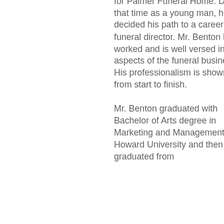for Palmer Funeral Home. During that time as a young man, he decided his path to a career as a funeral director. Mr. Benton has worked and is well versed in all aspects of the funeral business. His professionalism is shown from start to finish. Mr. Benton graduated with Bachelor of Arts degree in Marketing and Management from Howard University and then graduated from